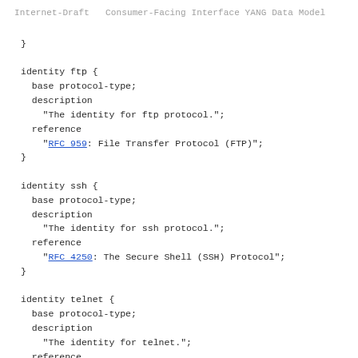Internet-Draft   Consumer-Facing Interface YANG Data Model
}

identity ftp {
  base protocol-type;
  description
    "The identity for ftp protocol.";
  reference
    "RFC 959: File Transfer Protocol (FTP)";
}

identity ssh {
  base protocol-type;
  description
    "The identity for ssh protocol.";
  reference
    "RFC 4250: The Secure Shell (SSH) Protocol";
}

identity telnet {
  base protocol-type;
  description
    "The identity for telnet.";
  reference
    "RFC 854: Telnet Protocol";
}